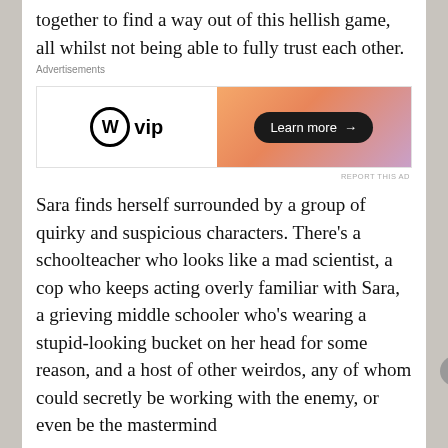together to find a way out of this hellish game, all whilst not being able to fully trust each other.
[Figure (other): WordPress VIP advertisement banner with gradient orange/purple background and 'Learn more →' button]
Sara finds herself surrounded by a group of quirky and suspicious characters. There's a schoolteacher who looks like a mad scientist, a cop who keeps acting overly familiar with Sara, a grieving middle schooler who's wearing a stupid-looking bucket on her head for some reason, and a host of other weirdos, any of whom could secretly be working with the enemy, or even be the mastermind
[Figure (other): DuckDuckGo advertisement: 'Search, browse, and email with more privacy. All in One Free App' with DuckDuckGo logo]